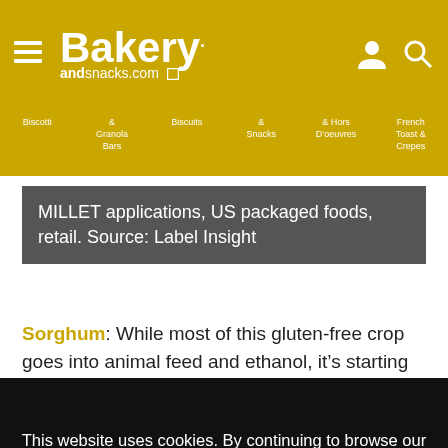Bakery andsnacks.com
Biscotti & Granola Bars   Biscuits & Snacks   & Hors D'oeuvres   French Toast & Crepes
MILLET applications, US packaged foods, retail. Source: Label Insight
Sorghum: While most of this gluten-free crop goes into animal feed and ethanol, it’s starting to gain momentum in
This website uses cookies. By continuing to browse our website, you are agreeing to our use of cookies. You can learn more about cookies by visiting our privacy & cookies policy page.